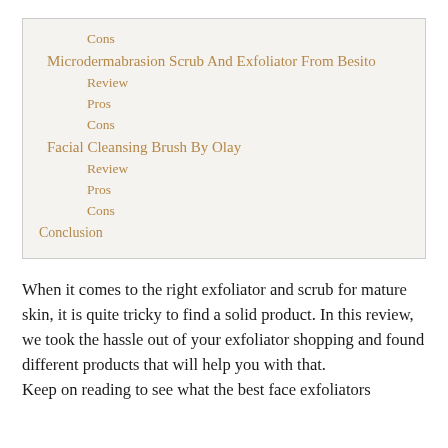Cons
Microdermabrasion Scrub And Exfoliator From Besito
Review
Pros
Cons
Facial Cleansing Brush By Olay
Review
Pros
Cons
Conclusion
When it comes to the right exfoliator and scrub for mature skin, it is quite tricky to find a solid product. In this review, we took the hassle out of your exfoliator shopping and found different products that will help you with that.
Keep on reading to see what the best face exfoliators